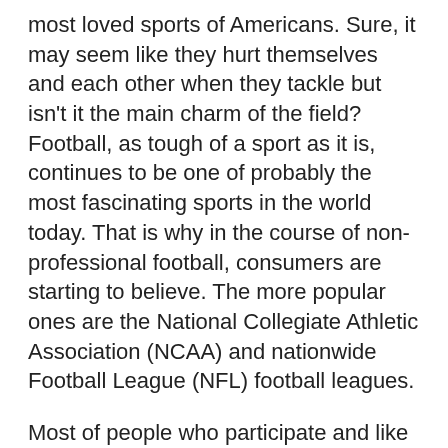most loved sports of Americans. Sure, it may seem like they hurt themselves and each other when they tackle but isn't it the main charm of the field? Football, as tough of a sport as it is, continues to be one of probably the most fascinating sports in the world today. That is why in the course of non-professional football, consumers are starting to believe. The more popular ones are the National Collegiate Athletic Association (NCAA) and nationwide Football League (NFL) football leagues.
Most of people who participate and like to bet on football are merely fans of that game within their know noticeably about the device and that why there're able to win. On the other hand every bettor is a lover. Many professional bettors began learning along the game therefore the system, simple explanation of are successful machines and